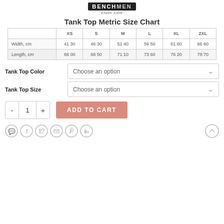BENCH MEN cloth.com
Tank Top Metric Size Chart
|  | XS | S | M | L | XL | 2XL |
| --- | --- | --- | --- | --- | --- | --- |
| Width, cm | 41 30 | 46 30 | 51 40 | 56 50 | 61 60 | 66 60 |
| Length, cm | 66 00 | 68 50 | 71 10 | 73 60 | 76 20 | 78 70 |
Tank Top Color
Choose an option
Tank Top Size
Choose an option
- 1 + ADD TO CART
[Figure (other): Social share icons: WhatsApp, Facebook, Twitter, Email, Pinterest, LinkedIn, and scroll-to-top arrow button]